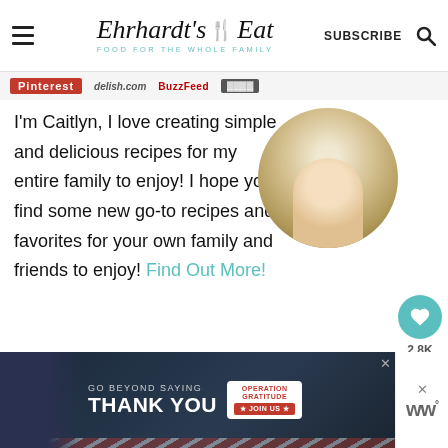Ehhardt's Eat — FOOD FOR THE WHOLE FAMILY | SUBSCRIBE
[Figure (other): Row of media logos: Pinterest (red), delish.com (gray italic), BuzzFeed (dark red bold), and one more dark logo]
I'm Caitlyn, I love creating simple and delicious recipes for my entire family to enjoy! I hope you find some new go-to recipes and favorites for your own family and friends to enjoy! Find Out More!
[Figure (photo): Circular profile photo of a smiling woman outdoors with yellow foliage background]
[Figure (other): Teal heart button with 2.8K count and teal share button on right side]
[Figure (other): Advertisement banner: GO BEYOND SAYING THANK YOU — Operation Gratitude JOIN US]